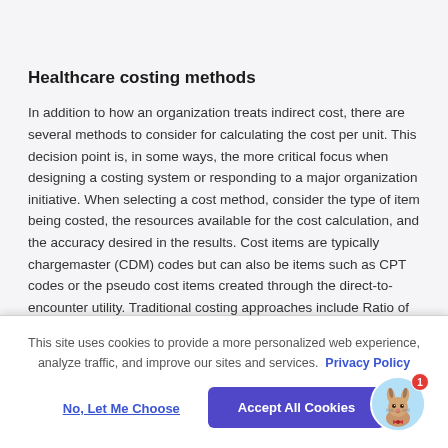Healthcare costing methods
In addition to how an organization treats indirect cost, there are several methods to consider for calculating the cost per unit. This decision point is, in some ways, the more critical focus when designing a costing system or responding to a major organization initiative. When selecting a cost method, consider the type of item being costed, the resources available for the cost calculation, and the accuracy desired in the results. Cost items are typically chargemaster (CDM) codes but can also be items such as CPT codes or the pseudo cost items created through the direct-to-encounter utility. Traditional costing approaches include Ratio of Cost to Charge (RCC), Relative Value Unit (RVU), and Relative Cost Unit (RCU). These methods are well known and frequently used in the healthcare industry
This site uses cookies to provide a more personalized web experience, analyze traffic, and improve our sites and services. Privacy Policy
No, Let Me Choose
Accept All Cookies